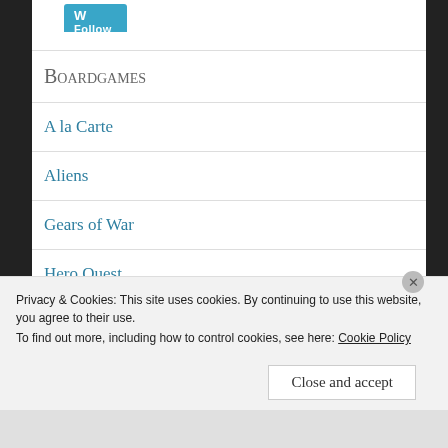[Figure (logo): Follow Banjo's House Rules button in teal/blue color]
Boardgames
A la Carte
Aliens
Gears of War
Hero Quest
Privacy & Cookies: This site uses cookies. By continuing to use this website, you agree to their use.
To find out more, including how to control cookies, see here: Cookie Policy
Close and accept